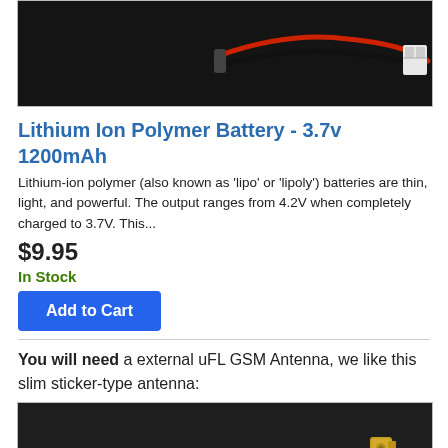[Figure (photo): Close-up photo of a lithium ion polymer battery connector with red and black wires and a white JST connector, on a dark background]
Lithium Ion Polymer Battery - 3.7v 1200mAh
Lithium-ion polymer (also known as 'lipo' or 'lipoly') batteries are thin, light, and powerful. The output ranges from 4.2V when completely charged to 3.7V. This...
$9.95
In Stock
Add to Cart
You will need a external uFL GSM Antenna, we like this slim sticker-type antenna:
[Figure (photo): Photo of a slim uFL GSM antenna with a gold connector end on a dark background]